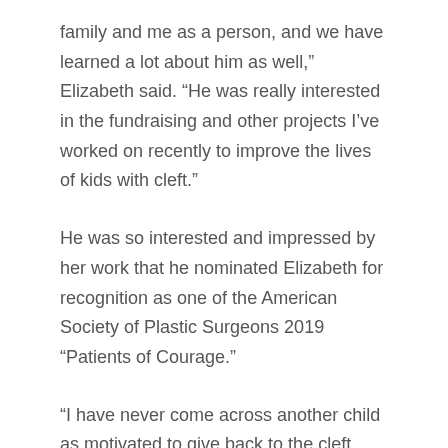family and me as a person, and we have learned a lot about him as well,” Elizabeth said. “He was really interested in the fundraising and other projects I’ve worked on recently to improve the lives of kids with cleft.”
He was so interested and impressed by her work that he nominated Elizabeth for recognition as one of the American Society of Plastic Surgeons 2019 “Patients of Courage.”
“I have never come across another child as motivated to give back to the cleft community as Elizabeth,” Arun wrote in his